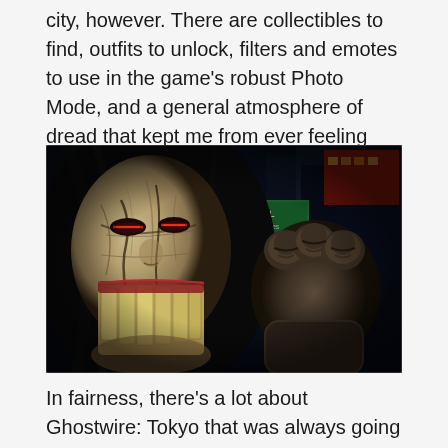city, however. There are collectibles to find, outfits to unlock, filters and emotes to use in the game's robust Photo Mode, and a general atmosphere of dread that kept me from ever feeling truly comfortable.
[Figure (photo): A horrifying creature with a cracked pale mask-like face showing exposed teeth, long black hair, and a clawed hand reaching toward the viewer, set against a dark urban Tokyo backdrop with neon signs.]
In fairness, there's a lot about Ghostwire: Tokyo that was always going to hit me right in my particular weak spots. It's an action game with horror trappings, a thoroughly evocative setting, and a likeable set of protagonists who